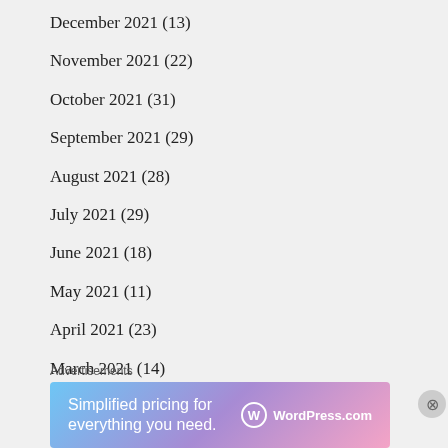December 2021 (13)
November 2021 (22)
October 2021 (31)
September 2021 (29)
August 2021 (28)
July 2021 (29)
June 2021 (18)
May 2021 (11)
April 2021 (23)
March 2021 (14)
Advertisements
[Figure (infographic): WordPress.com advertisement banner: 'Simplified pricing for everything you need.' with WordPress.com logo on a blue-pink gradient background]